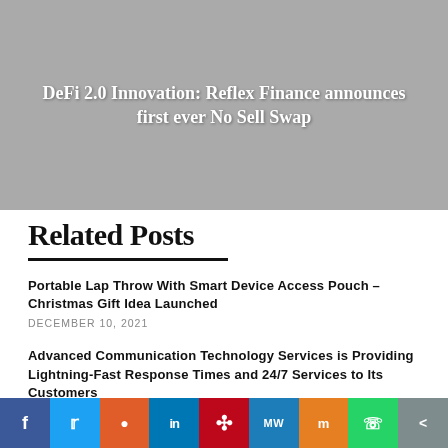[Figure (other): Gray banner image with white bold text reading 'DeFi 2.0 Innovation: Reflex Finance announces first ever No Sell Swap']
Related Posts
Portable Lap Throw With Smart Device Access Pouch – Christmas Gift Idea Launched
DECEMBER 10, 2021
Advanced Communication Technology Services is Providing Lightning-Fast Response Times and 24/7 Services to Its Customers
JULY 30, 2022
[Figure (infographic): Social media sharing bar with icons for Facebook, Twitter, Reddit, LinkedIn, Pinterest, MeWe, Mix, WhatsApp, and Share]